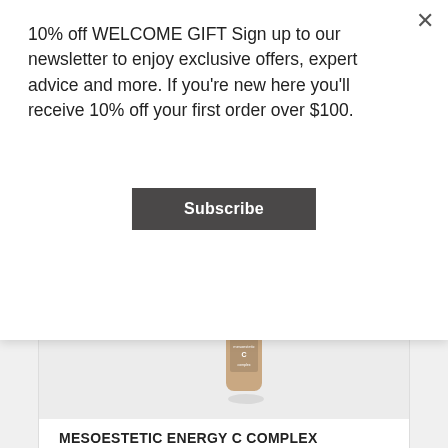10% off WELCOME GIFT Sign up to our newsletter to enjoy exclusive offers, expert advice and more. If you're new here you'll receive 10% off your first order over $100.
Subscribe
[Figure (photo): Product image of a gold/rose-gold serum bottle (Mesoestetic Energy C Complex) on a light grey background, shown at a diagonal angle.]
MESOESTETIC ENERGY C COMPLEX INTENSIVE CARE – 4 X 7ML
$139.00
Add to cart  Show Details